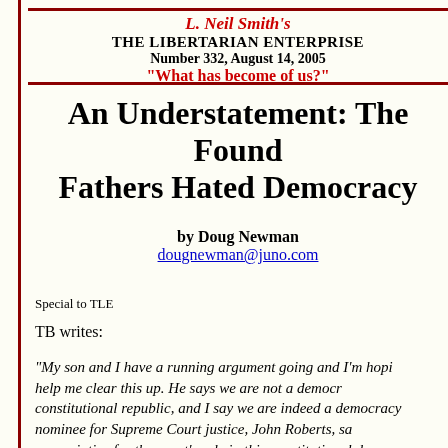L. Neil Smith's
THE LIBERTARIAN ENTERPRISE
Number 332, August 14, 2005
"What has become of us?"
An Understatement: The Founding Fathers Hated Democracy
by Doug Newman
dougnewman@juno.com
Special to TLE
TB writes:
"My son and I have a running argument going and I'm hoping you can help me clear this up. He says we are not a democracy but a constitutional republic, and I say we are indeed a democracy. The nominee for Supreme Court justice, John Roberts, said he was appreciative for the court's role in this constitutional democracy. He is like he should know what we are, right? Can you help me explain all this? And settle the argument?"